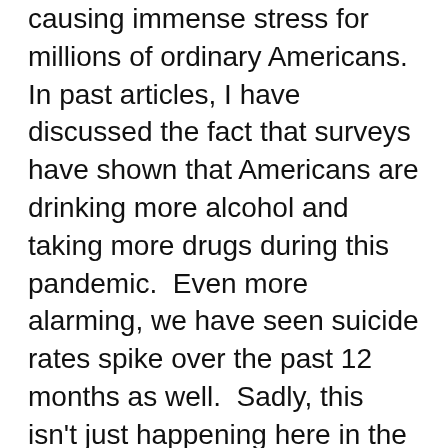causing immense stress for millions of ordinary Americans.  In past articles, I have discussed the fact that surveys have shown that Americans are drinking more alcohol and taking more drugs during this pandemic.  Even more alarming, we have seen suicide rates spike over the past 12 months as well.  Sadly, this isn't just happening here in the United States.  All over the globe, more people are ending their own lives during this pandemic.  But of course most people aren't going to go that far.  Instead, most people are just going to quietly struggle along, but in the process many of them are making huge changes to their lifestyles.
For example, this pandemic appears to be greatly affecting both marriage and divorce